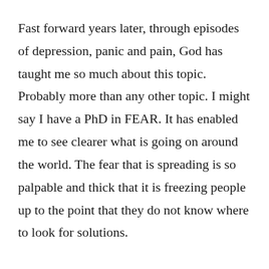Fast forward years later, through episodes of depression, panic and pain, God has taught me so much about this topic. Probably more than any other topic. I might say I have a PhD in FEAR. It has enabled me to see clearer what is going on around the world. The fear that is spreading is so palpable and thick that it is freezing people up to the point that they do not know where to look for solutions.